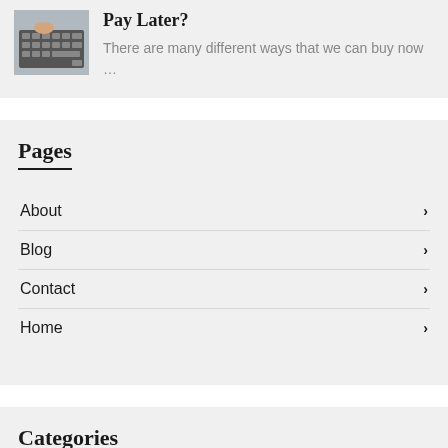[Figure (photo): Photo of hands using a calculator on a desk]
Pay Later?
There are many different ways that we can buy now …
Pages
About
Blog
Contact
Home
Categories